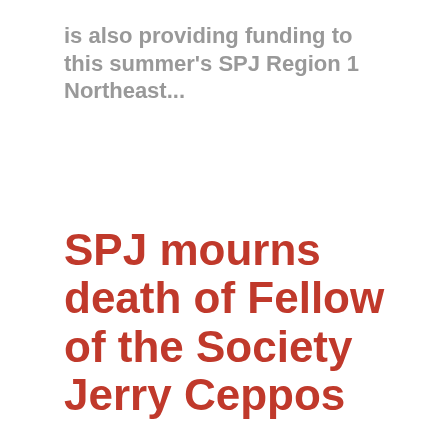is also providing funding to this summer's SPJ Region 1 Northeast...
SPJ mourns death of Fellow of the Society Jerry Ceppos
CONTACT: Rebecca Aguilar, SPJ National President, 317-361-4134, rebeccaaguilar50@gmail.com Zoë Berg, SPJ Communications Specialist, 317-920-4785, zberg@spj.org">zberg@spj.org INDIANAPOLIS — The Society of Professional Journalists is mourning a Fellow of the